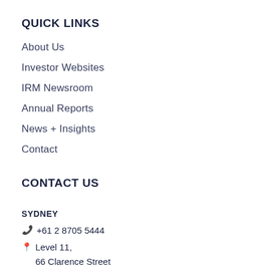QUICK LINKS
About Us
Investor Websites
IRM Newsroom
Annual Reports
News + Insights
Contact
CONTACT US
SYDNEY
+61 2 8705 5444
Level 11,
66 Clarence Street
Sydney, NSW 2000